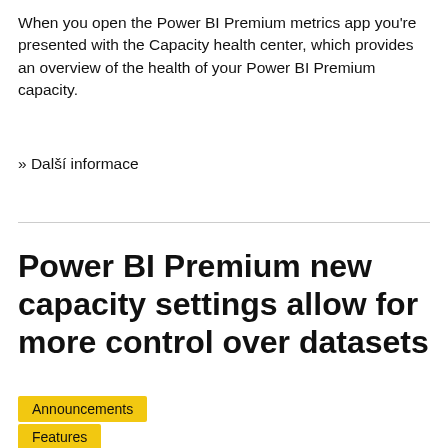When you open the Power BI Premium metrics app you're presented with the Capacity health center, which provides an overview of the health of your Power BI Premium capacity.
» Další informace
Power BI Premium new capacity settings allow for more control over datasets
Announcements
Features